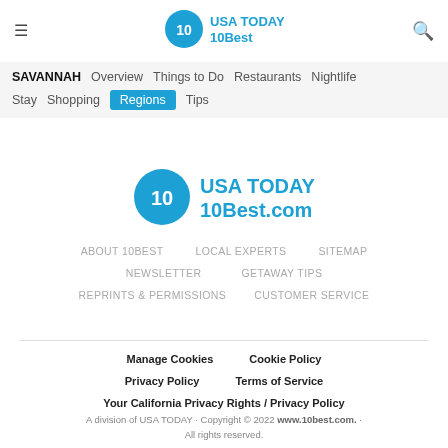USA TODAY 10Best navigation header with hamburger menu and search icon
SAVANNAH  Overview  Things to Do  Restaurants  Nightlife  Stay  Shopping  Regions  Tips
[Figure (logo): USA TODAY 10Best.com logo with blue circle containing number 10]
ABOUT 10Best  LOCAL EXPERTS  SITEMAP  NEWSLETTER  GETAWAY TIPS  REPRINTS & PERMISSIONS  CUSTOMER SERVICE
Manage Cookies  Cookie Policy  Privacy Policy  Terms of Service  Your California Privacy Rights / Privacy Policy
A division of USA TODAY · Copyright © 2022 www.10best.com. · All rights reserved.